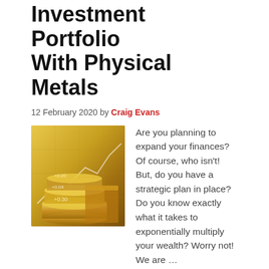Investment Portfolio With Physical Metals
12 February 2020 by Craig Evans
[Figure (photo): Stack of gold coins with financial chart overlay]
Are you planning to expand your finances? Of course, who isn't! But, do you have a strategic plan in place? Do you know exactly what it takes to exponentially multiply your wealth? Worry not! We are …
[Read more...]
Women's choice in cars